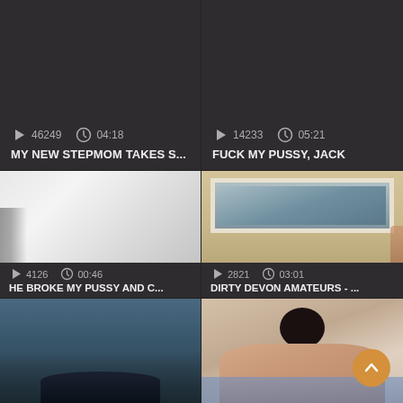[Figure (screenshot): Video thumbnail card top-left: dark info panel with play icon, views 46249, duration 04:18, title MY NEW STEPMOM TAKES S...]
[Figure (screenshot): Video thumbnail card top-right: dark info panel with play icon, views 14233, duration 05:21, title FUCK MY PUSSY, JACK]
[Figure (screenshot): Video thumbnail card middle-left: blurry white/grey video still with dark info panel, views 4126, duration 00:46, title HE BROKE MY PUSSY AND C...]
[Figure (screenshot): Video thumbnail card middle-right: room interior with white-framed window/mirror, dark info panel, views 2821, duration 03:01, title DIRTY DEVON AMATEURS - ...]
[Figure (screenshot): Video thumbnail bottom-left: dark blue room, partial figure visible]
[Figure (screenshot): Video thumbnail bottom-right: bedroom scene with scroll-up button overlay (orange circle with up chevron)]